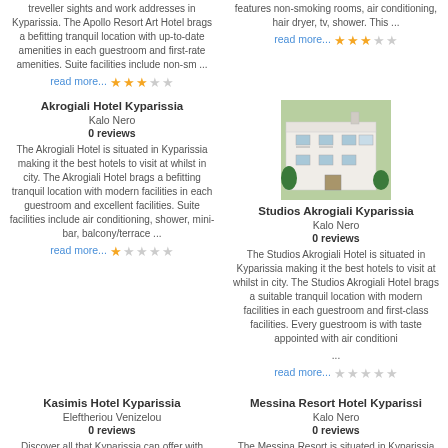treveller sights and work addresses in Kyparissia. The Apollo Resort Art Hotel brags a befitting tranquil location with up-to-date amenities in each guestroom and first-rate amenities. Suite facilities include non-sm ...
read more...
features non-smoking rooms, air conditioning, hair dryer, tv, shower. This ...
read more...
Akrogiali Hotel Kyparissia
Kalo Nero
0 reviews
The Akrogiali Hotel is situated in Kyparissia making it the best hotels to visit at whilst in city. The Akrogiali Hotel brags a befitting tranquil location with modern facilities in each guestroom and excellent facilities. Suite facilities include air conditioning, shower, mini-bar, balcony/terrace ...
read more...
[Figure (photo): Photo of Studios Akrogiali Kyparissia hotel building]
Studios Akrogiali Kyparissia
Kalo Nero
0 reviews
The Studios Akrogiali Hotel is situated in Kyparissia making it the best hotels to visit at whilst in city. The Studios Akrogiali Hotel brags a suitable tranquil location with modern facilities in each guestroom and first-class facilities. Every guestroom is with taste appointed with air conditioni ...
read more...
Kasimis Hotel Kyparissia
Eleftheriou Venizelou
0 reviews
Discover all that Kyparissia can offer with Kasimis Hotel as a base. All hotel's rooms for guests have all the conveniences ...
Messina Resort Hotel Kyparissi
Kalo Nero
0 reviews
The Messina Resort is situated in Kyparissia making it the best hotels to visit at whilst in city. The Messina Resort brags ...